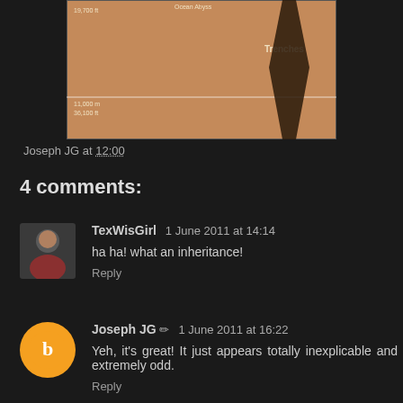[Figure (infographic): Partial view of an ocean depth infographic showing depth levels with brown/tan background. Labels visible include 'Trenches', depth markers '11,000 m' and '36,100 ft', and '19,700 ft'. A dark trench shape is visible on the right side.]
Joseph JG at 12:00
4 comments:
TexWisGirl  1 June 2011 at 14:14
ha ha! what an inheritance!
Reply
Joseph JG  ✏  1 June 2011 at 16:22
Yeh, it's great! It just appears totally inexplicable and extremely odd.
Reply